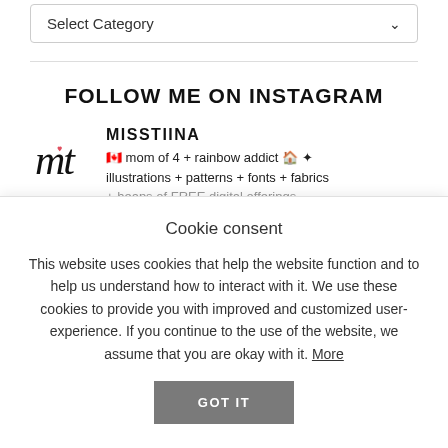[Figure (screenshot): Select Category dropdown box with chevron arrow]
FOLLOW ME ON INSTAGRAM
[Figure (logo): MisssTiina handwritten logo]
MISSTIINA
🇨🇦 mom of 4 + rainbow addict 🏠 ✦
illustrations + patterns + fonts + fabrics
+ heaps of FREE digital offerings
Cookie consent
This website uses cookies that help the website function and to help us understand how to interact with it. We use these cookies to provide you with improved and customized user-experience. If you continue to the use of the website, we assume that you are okay with it. More
GOT IT